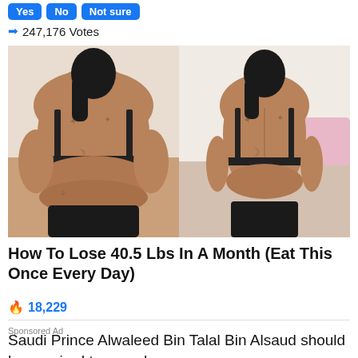Yes  No  Not sure
247,176 Votes
[Figure (photo): Before and after weight loss comparison showing the back of a woman in a black bra and shorts; left side shows heavier figure, right side shows slimmer figure, both with tattoos on back]
How To Lose 40.5 Lbs In A Month (Eat This Once Every Day)
18,229
Sponsored Ad
Saudi Prince Alwaleed Bin Talal Bin Alsaud should be required to reveal